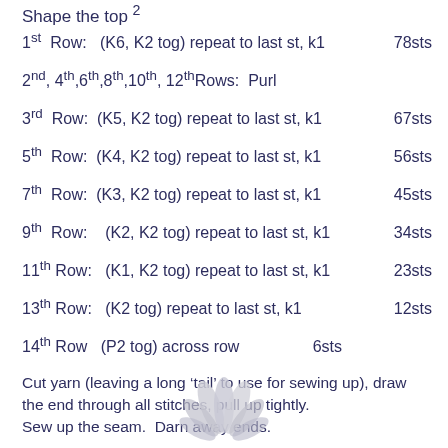Shape the top 2
1st Row:   (K6, K2 tog) repeat to last st, k1    78sts
2nd, 4th,6th,8th,10th, 12thRows:  Purl
3rd  Row:  (K5, K2 tog) repeat to last st, k1    67sts
5th  Row:  (K4, K2 tog) repeat to last st, k1    56sts
7th  Row:  (K3, K2 tog) repeat to last st, k1    45sts
9th  Row:   (K2, K2 tog) repeat to last st, k1   34sts
11th Row:   (K1, K2 tog) repeat to last st, k1   23sts
13th Row:   (K2 tog) repeat to last st, k1        12sts
14th Row   (P2 tog) across row     6sts
Cut yarn (leaving a long ‘tail’ to use for sewing up), draw the end through all stitches, pull up tightly.
Sew up the seam.  Darn away ends.
[Figure (illustration): Decorative illustration of a knitted flower or plant shape in light grey/white tones at the bottom of the page.]